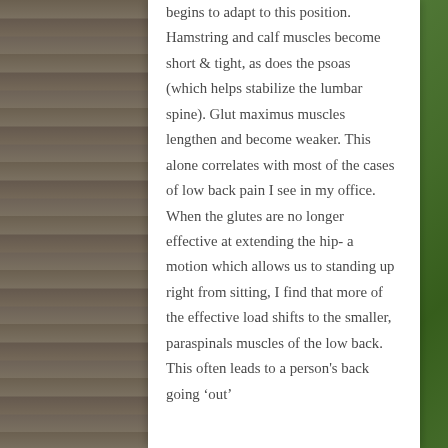begins to adapt to this position. Hamstring and calf muscles become short & tight, as does the psoas (which helps stabilize the lumbar spine). Glut maximus muscles lengthen and become weaker. This alone correlates with most of the cases of low back pain I see in my office. When the glutes are no longer effective at extending the hip- a motion which allows us to standing up right from sitting, I find that more of the effective load shifts to the smaller, paraspinals muscles of the low back. This often leads to a person’s back going ‘out’ and more back pain is the end result.